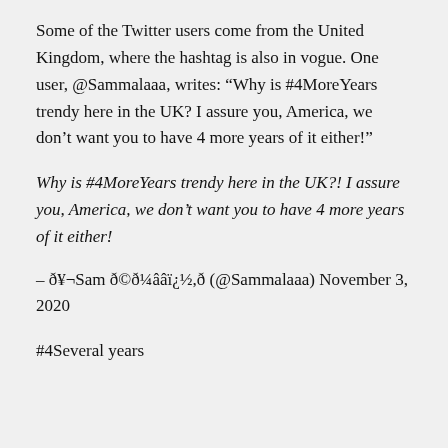Some of the Twitter users come from the United Kingdom, where the hashtag is also in vogue. One user, @Sammalaaa, writes: “Why is #4MoreYears trendy here in the UK? I assure you, America, we don’t want you to have 4 more years of it either!”
Why is #4MoreYears trendy here in the UK?! I assure you, America, we don’t want you to have 4 more years of it either!
– ð¥¬ Sam ð©ð¼ââï¿½,ð (@Sammalaaa) November 3, 2020
#4Several years